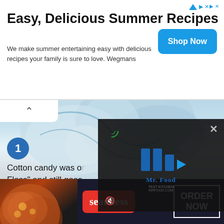[Figure (screenshot): Top advertisement banner for Wegmans summer recipes with Shop Now button]
Easy, Delicious Summer Recipes
We make summer entertaining easy with delicious recipes your family is sure to love. Wegmans
[Figure (photo): Cotton candy close-up photo with blue and white swirls]
Cotton candy was or... Floss" and still goes... Australia.
[Figure (screenshot): Mr. Food video overlay with play button, mute icon, and logo]
[Figure (screenshot): Seamless food delivery advertisement with pizza image, seamless logo, and ORDER NOW button]